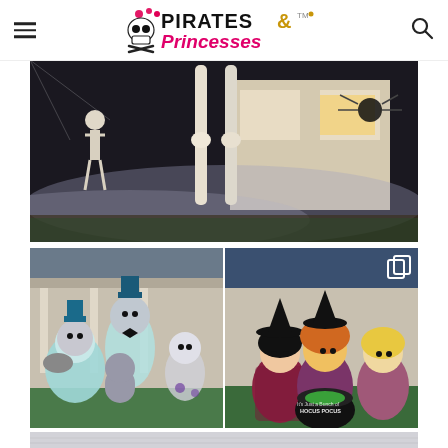Pirates & Princesses
[Figure (photo): Outdoor Halloween decoration scene showing large skeleton leg props rising from a foggy yard, surrounded by smaller skeleton figures, spiderwebs, and a spider prop near a house facade at night.]
[Figure (photo): Inflatable Halloween decoration featuring Haunted Mansion characters including the Hatbox Ghost and other ghostly figures in teal/gray tones, displayed on a lawn in front of a house.]
[Figure (photo): Inflatable Halloween decoration of the Hocus Pocus Sanderson Sisters characters (three witches) gathered around a glowing green cauldron labeled 'It's Just a Bunch of Hocus Pocus', displayed on a lawn.]
[Figure (photo): Partial bottom reflection/preview of a third Halloween decoration image showing what appears to be inflatable decorations, partially cropped.]